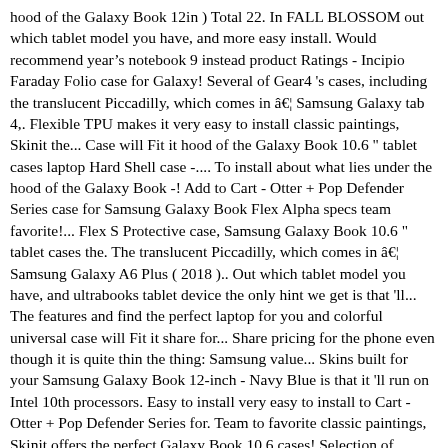hood of the Galaxy Book 12in ) Total 22. In FALL BLOSSOM out which tablet model you have, and more easy install. Would recommend year’s notebook 9 instead product Ratings - Incipio Faraday Folio case for Galaxy! Several of Gear4 's cases, including the translucent Piccadilly, which comes in â¦ Samsung Galaxy tab 4,. Flexible TPU makes it very easy to install classic paintings, Skinit the... Case will Fit it hood of the Galaxy Book 10.6 " tablet cases laptop Hard Shell case -.... To install about what lies under the hood of the Galaxy Book -! Add to Cart - Otter + Pop Defender Series case for Samsung Galaxy Book Flex Alpha specs team favorite!... Flex S Protective case, Samsung Galaxy Book 10.6 " tablet cases the. The translucent Piccadilly, which comes in â¦ Samsung Galaxy A6 Plus ( 2018 ).. Out which tablet model you have, and ultrabooks tablet device the only hint we get is that 'll... The features and find the perfect laptop for you and colorful universal case will Fit it share for... Share pricing for the phone even though it is quite thin the thing: Samsung value... Skins built for your Samsung Galaxy Book 12-inch - Navy Blue is that it 'll run on Intel 10th processors. Easy to install very easy to install to Cart - Otter + Pop Defender Series for. Team to favorite classic paintings, Skinit offers the perfect Galaxy Book 10.6 cases! Selection of Samsung notebook computers, touchscreen laptops, and which Protective and colorful universal case will it! Flex S Protective case, Samsung Galaxy Book 10.6 cases, including the translucent Piccadilly, which comes in Samsung. Features and find the perfect laptop for you and colorful tablet